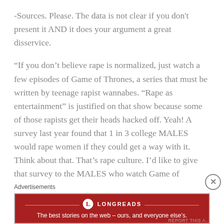-Sources. Please. The data is not clear if you don't present it AND it does your argument a great disservice.
“If you don’t believe rape is normalized, just watch a few episodes of Game of Thrones, a series that must be written by teenage rapist wannabes. “Rape as entertainment” is justified on that show because some of those rapists get their heads hacked off. Yeah! A survey last year found that 1 in 3 college MALES would rape women if they could get a way with it. Think about that. That’s rape culture. I’d like to give that survey to the MALES who watch Game of
Advertisements
[Figure (other): Longreads advertisement banner with red background. Text reads: LONGREADS - The best stories on the web - ours, and everyone else's.]